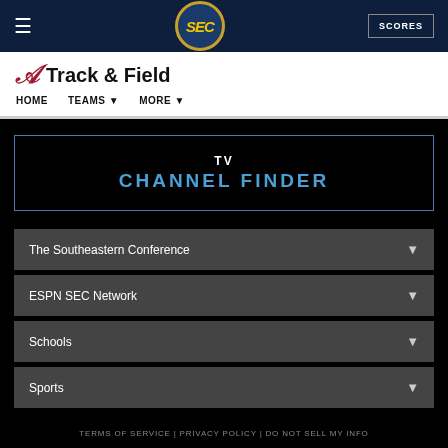[Figure (screenshot): SEC website navigation screenshot showing Track & Field page with TV Channel Finder]
SEC Track & Field | HOME | TEAMS | MORE
TV CHANNEL FINDER
The Southeastern Conference
ESPN SEC Network
Schools
Sports
TERMS OF SERVICE | PRIVACY POLICY | DO NOT SELL MY INFO